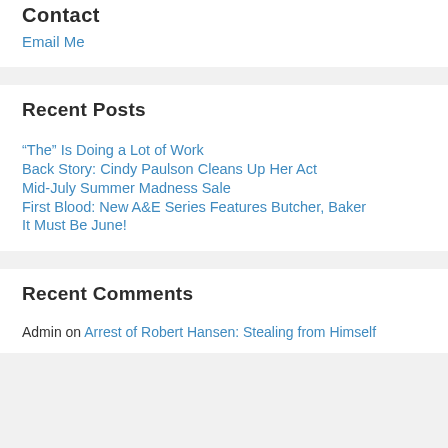Contact
Email Me
Recent Posts
“The” Is Doing a Lot of Work
Back Story: Cindy Paulson Cleans Up Her Act
Mid-July Summer Madness Sale
First Blood: New A&E Series Features Butcher, Baker
It Must Be June!
Recent Comments
Admin on Arrest of Robert Hansen: Stealing from Himself